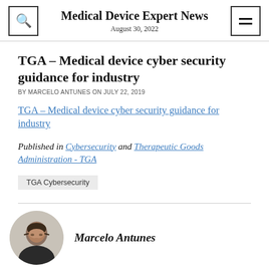Medical Device Expert News
August 30, 2022
TGA – Medical device cyber security guidance for industry
BY MARCELO ANTUNES ON JULY 22, 2019
TGA – Medical device cyber security guidance for industry
Published in Cybersecurity and Therapeutic Goods Administration - TGA
TGA Cybersecurity
Marcelo Antunes